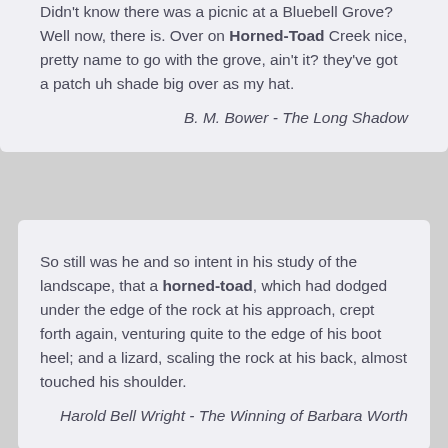Didn't know there was a picnic at a Bluebell Grove? Well now, there is. Over on Horned-Toad Creek nice, pretty name to go with the grove, ain't it? they've got a patch uh shade big over as my hat.
B. M. Bower - The Long Shadow
So still was he and so intent in his study of the landscape, that a horned-toad, which had dodged under the edge of the rock at his approach, crept forth again, venturing quite to the edge of his boot heel; and a lizard, scaling the rock at his back, almost touched his shoulder.
Harold Bell Wright - The Winning of Barbara Worth